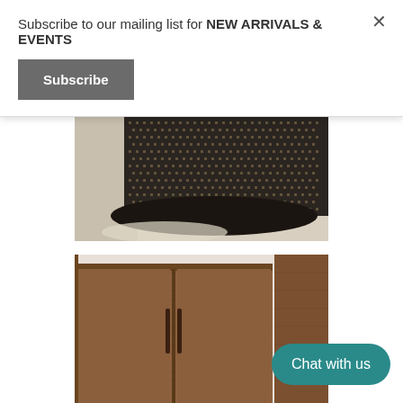Subscribe to our mailing list for NEW ARRIVALS & EVENTS
Subscribe
[Figure (photo): Close-up photo of a piece of furniture upholstered in a dark textured/tweed woven fabric, shot from a low angle on a light floor]
[Figure (photo): Photo of a mid-century modern wooden cabinet or wardrobe with walnut veneer finish and two doors with vertical slot handles]
Chat with us